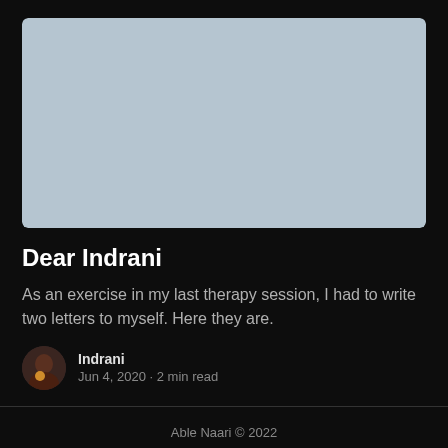[Figure (photo): Hero image placeholder — light blue-grey rectangular area with rounded corners representing an article header image]
Dear Indrani
As an exercise in my last therapy session, I had to write two letters to myself. Here they are.
Indrani
Jun 4, 2020 • 2 min read
Able Naari © 2022